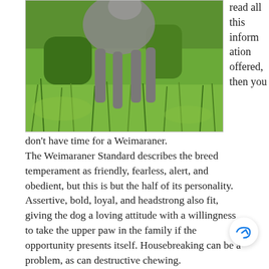[Figure (photo): A Weimaraner dog photographed in a grassy field, showing its grey coat and legs, with green grass in the background.]
read all this information offered, then you don't have time for a Weimaraner.
The Weimaraner Standard describes the breed temperament as friendly, fearless, alert, and obedient, but this is but the half of its personality. Assertive, bold, loyal, and headstrong also fit, giving the dog a loving attitude with a willingness to take the upper paw in the family if the opportunity presents itself. Housebreaking can be a problem, as can destructive chewing.
Like most large hunting breeds, the Weimaraner needs lots of exercise and must be kept in a fenced yard to prevent him from ranging in search of ga... Because he was developed as a hunting dog and still maintains those instincts, he may be dangerous to